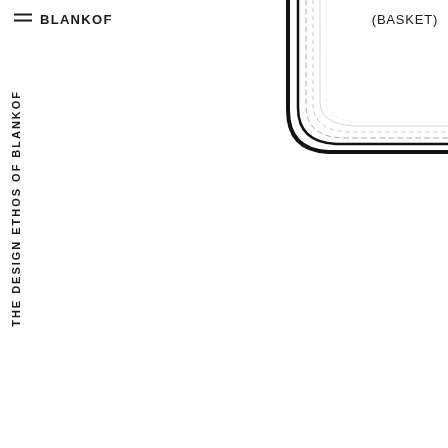≡  BLANKOF
(BASKET)
THE DESIGN ETHOS OF BLANKOF
[Figure (engineering-diagram): Partial outline/cross-section drawing of a basket shape, showing multiple curved lines (solid black, light gray dashed) forming the top-right corner profile of a basket, visible in upper-right quadrant of the page.]